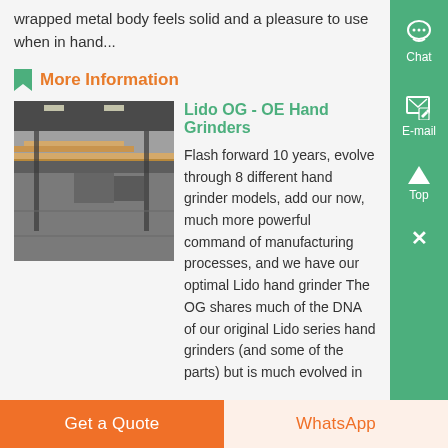wrapped metal body feels solid and a pleasure to use when in hand...
More Information
Lido OG - OE Hand Grinders
[Figure (photo): Industrial manufacturing facility with conveyor belt and lumber/boards, warehouse interior]
Flash forward 10 years, evolve through 8 different hand grinder models, add our now, much more powerful command of manufacturing processes, and we have our optimal Lido hand grinder The OG shares much of the DNA of our original Lido series hand grinders (and some of the parts) but is much evolved in...